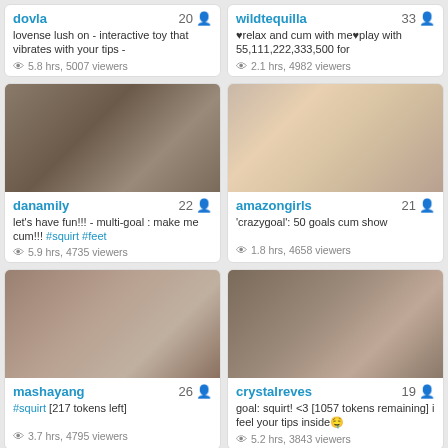[Figure (screenshot): Webcam platform grid showing 6 streamer cards with usernames, ages, descriptions, viewer counts, and thumbnail images]
dovla 20 | lovense lush on - interactive toy that vibrates with your tips - | 5.8 hrs, 5007 viewers
wildtequilla 33 | ♥relax and cum with me♥play with 55,111,222,333,500 for | 2.1 hrs, 4982 viewers
danamily 22 | let's have fun!!! - multi-goal : make me cum!!! #squirt #feet | 5.9 hrs, 4735 viewers
amazongirls 21 | 'crazygoal': 50 goals cum show | 1.8 hrs, 4658 viewers
mashayang 26 | #squirt [217 tokens left] | 3.7 hrs, 4795 viewers
crystalreves 19 | goal: squirt! <3 [1057 tokens remaining] i feel your tips inside🤤 | 5.2 hrs, 3843 viewers